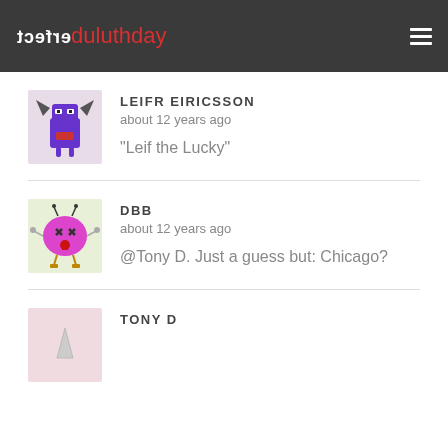erfect duluthday
LEIFR EIRICSSON
about 12 years ago
"Leif the Lucky"
DBB
about 12 years ago
@Tony D. Just a guess but: Chicago?
TONY D